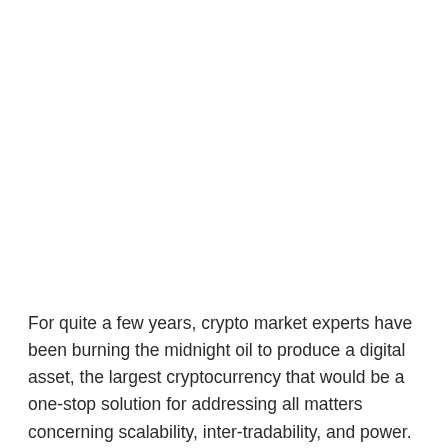For quite a few years, crypto market experts have been burning the midnight oil to produce a digital asset, the largest cryptocurrency that would be a one-stop solution for addressing all matters concerning scalability, inter-tradability, and power. All